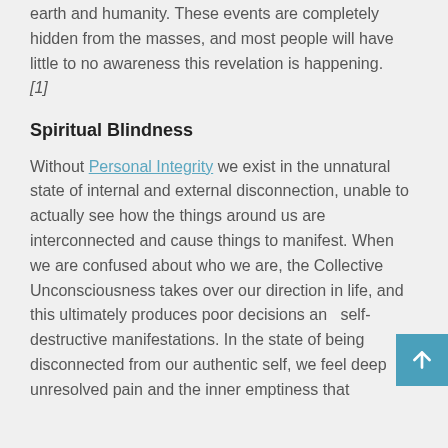earth and humanity. These events are completely hidden from the masses, and most people will have little to no awareness this revelation is happening. [1]
Spiritual Blindness
Without Personal Integrity we exist in the unnatural state of internal and external disconnection, unable to actually see how the things around us are interconnected and cause things to manifest. When we are confused about who we are, the Collective Unconsciousness takes over our direction in life, and this ultimately produces poor decisions and self-destructive manifestations. In the state of being disconnected from our authentic self, we feel deep unresolved pain and the inner emptiness that